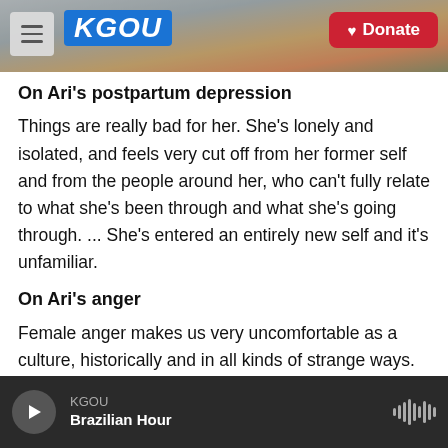[Figure (screenshot): KGOU radio website header with hamburger menu, KGOU logo in blue, Donate button in red, and a city photo background]
On Ari's postpartum depression
Things are really bad for her. She's lonely and isolated, and feels very cut off from her former self and from the people around her, who can't fully relate to what she's been through and what she's going through. ... She's entered an entirely new self and it's unfamiliar.
On Ari's anger
Female anger makes us very uncomfortable as a culture, historically and in all kinds of strange ways. Female anger is dangerous and very hard to take
KGOU — Brazilian Hour